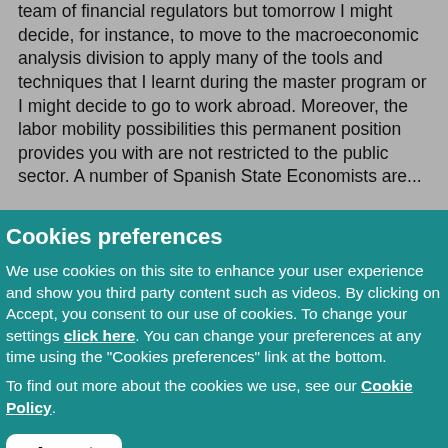team of financial regulators but tomorrow I might decide, for instance, to move to the macroeconomic analysis division to apply many of the tools and techniques that I learnt during the master program or I might decide to go to work abroad. Moreover, the labor mobility possibilities this permanent position provides you with are not restricted to the public sector. A number of Spanish State Economists are...
Cookies preferences
We use cookies on this site to enhance your user experience and show you third party content such as videos. By clicking on Accept, you consent to our use of cookies. To change your settings click here. You can change your preferences at any time using the "Cookies preferences" link at the bottom.
To find out more about the cookies we use, see our Cookie Policy.